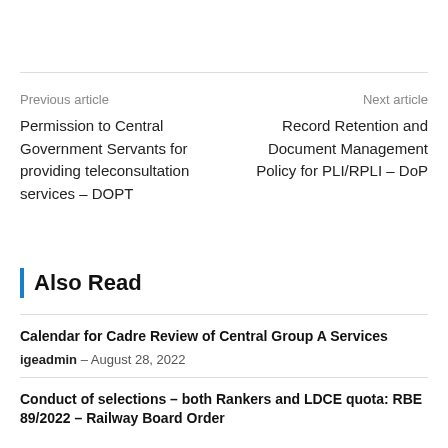Previous article
Permission to Central Government Servants for providing teleconsultation services – DOPT
Next article
Record Retention and Document Management Policy for PLI/RPLI – DoP
Also Read
Calendar for Cadre Review of Central Group A Services
igeadmin – August 28, 2022
Conduct of selections – both Rankers and LDCE quota: RBE 89/2022 – Railway Board Order